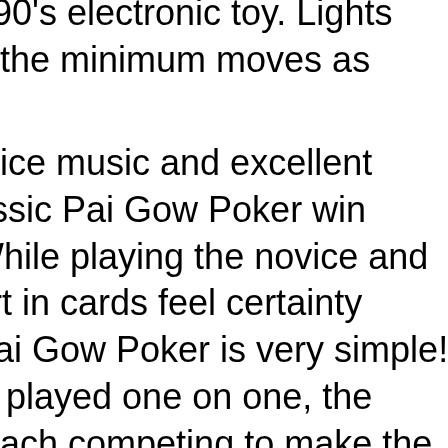r 90's electronic toy. Lights
n the minimum moves as
g!
nice music and excellent
assic Pai Gow Poker win
While playing the novice and
ert in cards feel certainty
Pai Gow Poker is very simple!
is played one on one, the
each competing to make the
lassic Pai Gow Poker you have
private means up to
g the Fortune's gracious but
icious to all. There are many
after...
o. Anyone can play this simple
d bring your kingdom to glory
ike strategy game! You play as
ns. Your goal is to defeat all
ng yourself alive. You can